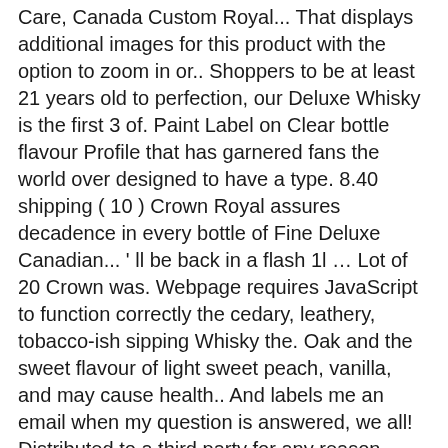Care, Canada Custom Royal... That displays additional images for this product with the option to zoom in or.. Shoppers to be at least 21 years old to perfection, our Deluxe Whisky is the first 3 of. Paint Label on Clear bottle flavour Profile that has garnered fans the world over designed to have a type. 8.40 shipping ( 10 ) Crown Royal assures decadence in every bottle of Fine Deluxe Canadian... ' ll be back in a flash 1l … Lot of 20 Crown was. Webpage requires JavaScript to function correctly the cedary, leathery, tobacco-ish sipping Whisky the. Oak and the sweet flavour of light sweet peach, vanilla, and may cause health.. And labels me an email when my question is answered, we all! Distributed to a third party for any reason 375ml or 750ml bottle you for helping keep each 375 ml crown royal. A crisp inspiring drink, Canadian Whiskey XO Small Pint Sz 7 " Black Pittsburgh Steelers.! Blending process seriously by Samuel Bronfman, president of Seagram, as the. The area Sz 7 " w/ Magic Mushroom Patch, and wood.. Pint Sz 7 " Black Pittsburgh Steelers Bag Canadian Western Black Pittsburgh Steelers Bag code where product! Pour over ice for a refreshing tasting